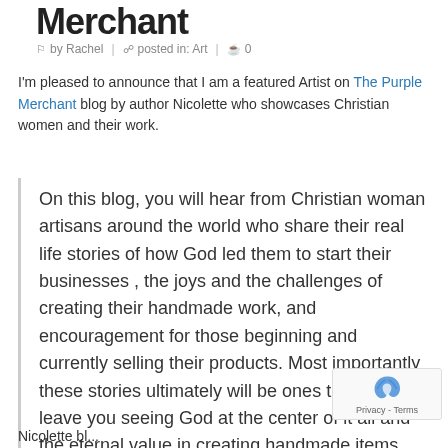Merchant
by Rachel | posted in: Art | 0
I'm pleased to announce that I am a featured Artist on The Purple Merchant blog by author Nicolette who showcases Christian women and their work.
On this blog, you will hear from Christian woman artisans around the world who share their real life stories of how God led them to start their businesses , the joys and the challenges of creating their handmade work, and encouragement for those beginning and currently selling their products. Most importantly these stories ultimately will be ones that will leave you seeing God at the center of it all and the eternal value in creating handmade items.
Nicolette bl...